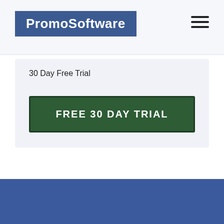PromoSoftware
30 Day Free Trial
FREE 30 DAY TRIAL